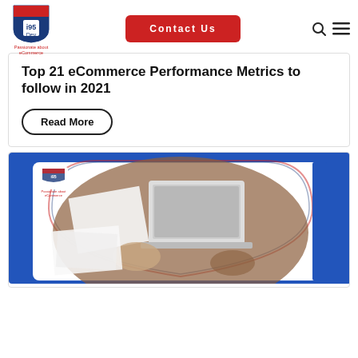i95 Dev — Passionate about eCommerce | Contact Us
Top 21 eCommerce Performance Metrics to follow in 2021
Read More
[Figure (screenshot): Blog post thumbnail showing an overhead view of people working at a desk with a laptop, papers, and documents. The image has the i95 Dev logo and blue decorative border elements.]